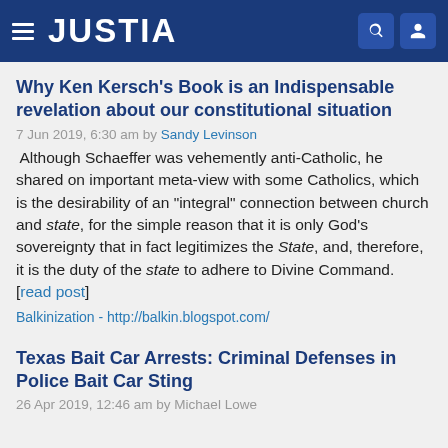JUSTIA
Why Ken Kersch's Book is an Indispensable revelation about our constitutional situation
7 Jun 2019, 6:30 am by Sandy Levinson
Although Schaeffer was vehemently anti-Catholic, he shared on important meta-view with some Catholics, which is the desirability of an "integral" connection between church and state, for the simple reason that it is only God's sovereignty that in fact legitimizes the State, and, therefore, it is the duty of the state to adhere to Divine Command. [read post]
Balkinization - http://balkin.blogspot.com/
Texas Bait Car Arrests: Criminal Defenses in Police Bait Car Sting
26 Apr 2019, 12:46 am by Michael Lowe